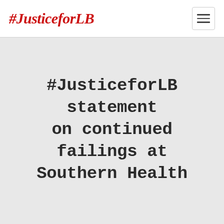#JusticeforLB
#JusticeforLB statement on continued failings at Southern Health